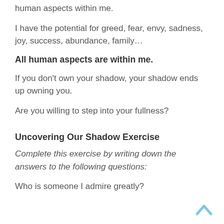human aspects within me.
I have the potential for greed, fear, envy, sadness, joy, success, abundance, family…
All human aspects are within me.
If you don't own your shadow, your shadow ends up owning you.
Are you willing to step into your fullness?
Uncovering Our Shadow Exercise
Complete this exercise by writing down the answers to the following questions:
Who is someone I admire greatly?